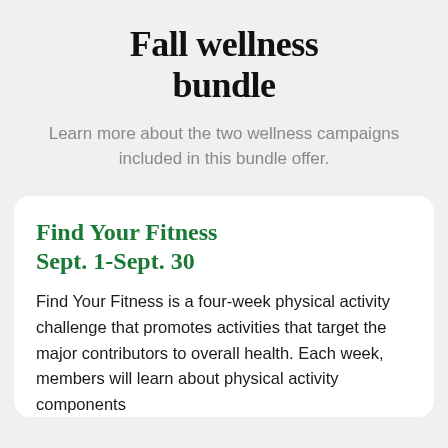Fall wellness bundle
Learn more about the two wellness campaigns included in this bundle offer.
Find Your Fitness Sept. 1-Sept. 30
Find Your Fitness is a four-week physical activity challenge that promotes activities that target the major contributors to overall health. Each week, members will learn about physical activity components